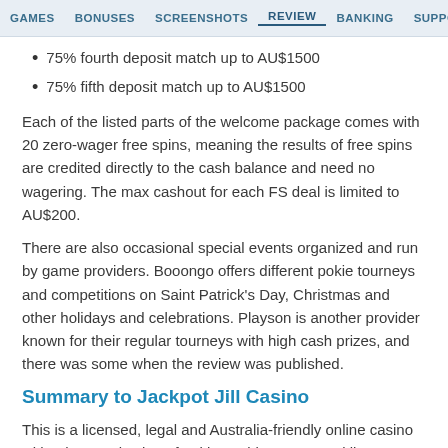GAMES   BONUSES   SCREENSHOTS   REVIEW   BANKING   SUPPORT   RELATED CA
75% fourth deposit match up to AU$1500
75% fifth deposit match up to AU$1500
Each of the listed parts of the welcome package comes with 20 zero-wager free spins, meaning the results of free spins are credited directly to the cash balance and need no wagering. The max cashout for each FS deal is limited to AU$200.
There are also occasional special events organized and run by game providers. Booongo offers different pokie tourneys and competitions on Saint Patrick's Day, Christmas and other holidays and celebrations. Playson is another provider known for their regular tourneys with high cash prizes, and there was some when the review was published.
Summary to Jackpot Jill Casino
This is a licensed, legal and Australia-friendly online casino with a huge selection of pokies, table games and live games from 15+ best providers. The welcome bonus consists of 5 portions with zero-wager free spins, while regulars are encouraged to